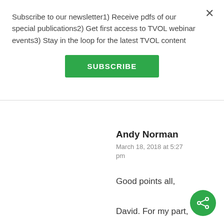Subscribe to our newsletter1) Receive pdfs of our special publications2) Get first access to TVOL webinar events3) Stay in the loop for the latest TVOL content
SUBSCRIBE
Andy Norman
March 18, 2018 at 5:27 pm
Good points all, David. For my part, I don't define morality for my